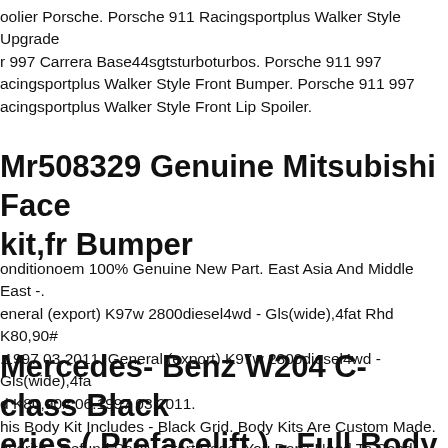oolier Porsche. Porsche 911 Racingsportplus Walker Style Upgrade r 997 Carrera Base44sgtsturboturbos. Porsche 911 997 acingsportplus Walker Style Front Bumper. Porsche 911 997 acingsportplus Walker Style Front Lip Spoiler.
Mr508329 Genuine Mitsubishi Face kit,fr Bumper
onditionoem 100% Genuine New Part. East Asia And Middle East -. eneral (export) K97w 2800diesel4wd - Gls(wide),4fat Rhd K80,90# .1997 03.2011. General (export) K97w 2800diesel4wd - Gls(wide),4fa d K80,90# 06.1997 03.2011.
Mercedes- Benz W204 C-class Black eries ( Prefacelift ) - Full Body Kit **
his Body Kit Includes - Black Grid. Body Kits Are Custom Made. avorite . Refund Policy. Start Page. You Don't Need To Send Broken